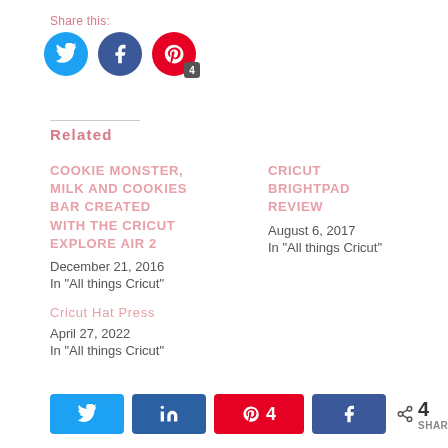Share this:
[Figure (infographic): Three social share icon circles: Twitter (blue), Facebook (blue), Pinterest (red) with a badge showing '4']
Related
COOKIE MONSTER, MILK AND COOKIES BAR CREATED WITH THE CRICUT EXPLORE AIR 2
December 21, 2016
In "All things Cricut"
CRICUT BRIGHTPAD REVIEW
August 6, 2017
In "All things Cricut"
Cricut Hat Press
April 27, 2022
In "All things Cricut"
[Figure (infographic): Share bar with Twitter, LinkedIn, Pinterest (4), Facebook buttons and total 4 SHARES]